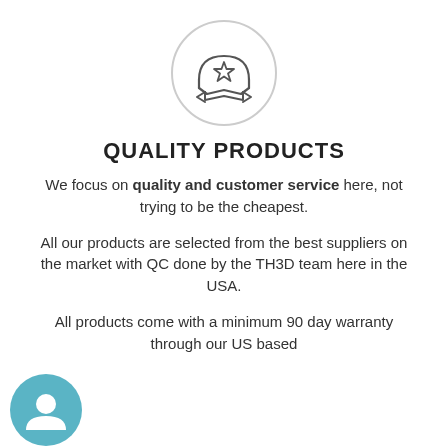[Figure (illustration): Circle outline containing an award/ribbon badge icon with a star in the center]
QUALITY PRODUCTS
We focus on quality and customer service here, not trying to be the cheapest.
All our products are selected from the best suppliers on the market with QC done by the TH3D team here in the USA.
All products come with a minimum 90 day warranty through our US based
[Figure (illustration): Teal/blue circular chat bubble icon in the bottom left corner]